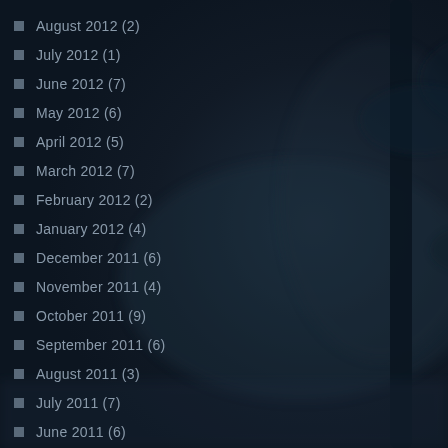August 2012 (2)
July 2012 (1)
June 2012 (7)
May 2012 (6)
April 2012 (5)
March 2012 (7)
February 2012 (2)
January 2012 (4)
December 2011 (6)
November 2011 (4)
October 2011 (9)
September 2011 (6)
August 2011 (3)
July 2011 (7)
June 2011 (6)